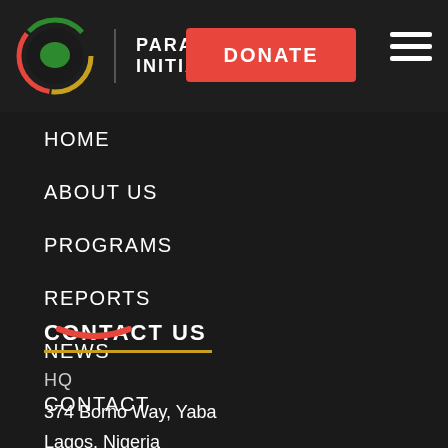[Figure (logo): Paradigm Initiative logo — circular icon with green leaf and red/yellow/green ring, beside text PARADIGM INITIATIVE]
DONATE
HOME
ABOUT US
PROGRAMS
REPORTS
NEWS
CONTACT
CONTACT US
HQ
374 Borno Way, Yaba
Lagos, Nigeria
+234 1 342 62 45